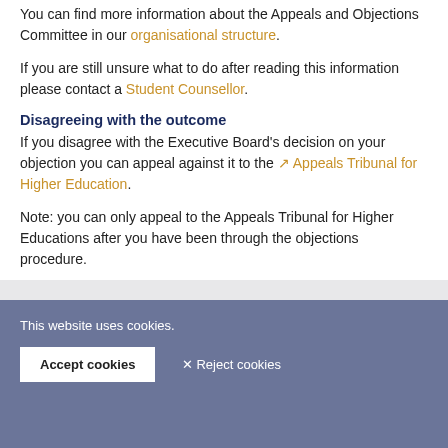You can find more information about the Appeals and Objections Committee in our organisational structure.
If you are still unsure what to do after reading this information please contact a Student Counsellor.
Disagreeing with the outcome
If you disagree with the Executive Board's decision on your objection you can appeal against it to the Appeals Tribunal for Higher Education.
Note: you can only appeal to the Appeals Tribunal for Higher Educations after you have been through the objections procedure.
This website uses cookies.
Accept cookies
✕ Reject cookies